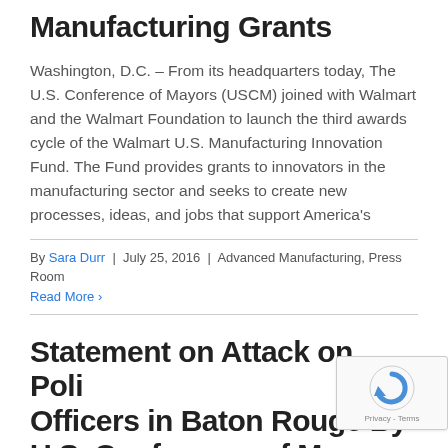Manufacturing Grants
Washington, D.C. – From its headquarters today, The U.S. Conference of Mayors (USCM) joined with Walmart and the Walmart Foundation to launch the third awards cycle of the Walmart U.S. Manufacturing Innovation Fund. The Fund provides grants to innovators in the manufacturing sector and seeks to create new processes, ideas, and jobs that support America's
By Sara Durr | July 25, 2016 | Advanced Manufacturing, Press Room
Read More ›
Statement on Attack on Police Officers in Baton Rouge By U.S. Conference of Mayors